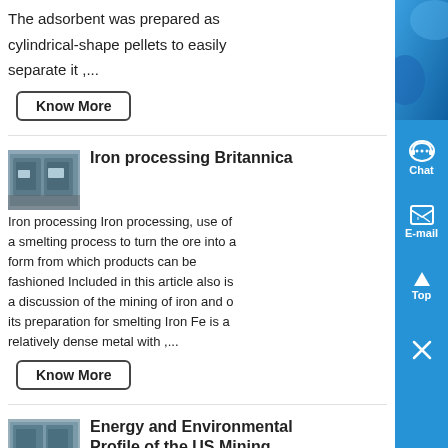The adsorbent was prepared as cylindrical-shape pellets to easily separate it ,...
Know More
Iron processing Britannica
[Figure (photo): Industrial equipment in a factory setting, showing large blue/grey machinery or pallets in a warehouse]
Iron processing Iron processing, use of a smelting process to turn the ore into a form from which products can be fashioned Included in this article also is a discussion of the mining of iron and o its preparation for smelting Iron Fe is a relatively dense metal with ,...
Know More
Energy and Environmental Profile of the US Mining ...